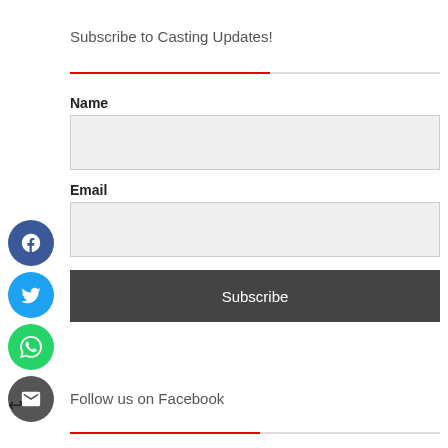Subscribe to Casting Updates!
Name
Email
Subscribe
Follow us on Facebook